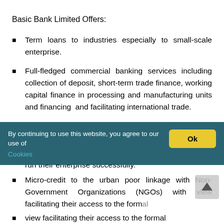Basic Bank Limited Offers:
Term loans to industries especially to small-scale enterprise.
Full-fledged commercial banking services including collection of deposit, short-term trade finance, working capital finance in processing and manufacturing units and financing and facilitating international trade.
Technical support to Small Scale Industries (SSI) to help them run their enterprise successfully.
Micro-credit to the urban poor linkage with Non-Government Organizations (NGOs) with view facilitating their access to the formal
By continuing to use this website, you agree to our use of Cookies